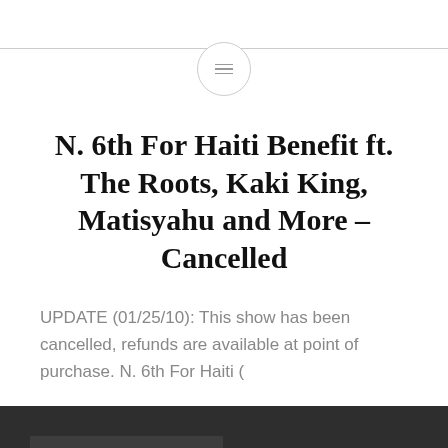N. 6th For Haiti Benefit ft. The Roots, Kaki King, Matisyahu and More – Cancelled
UPDATE (01/25/10): This show has been cancelled, refunds are available at point of purchase. N. 6th For Haiti (
OLDER POSTS